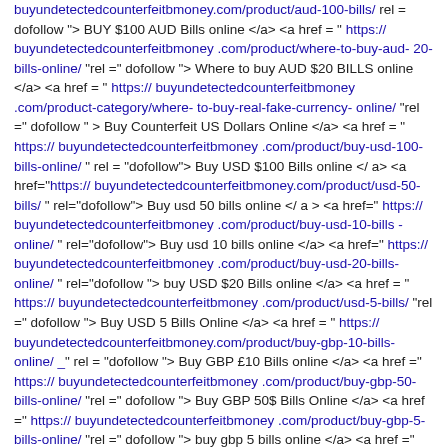buyundetectedcounterfeitbmoney.com/product/aud-100-bills/ rel = dofollow "> BUY $100 AUD Bills online </a> <a href = " https:// buyundetectedcounterfeitbmoney .com/product/where-to-buy-aud- 20-bills-online/ "rel =" dofollow "> Where to buy AUD $20 BILLS online </a> <a href = " https:// buyundetectedcounterfeitbmoney .com/product-category/where- to-buy-real-fake-currency- online/ "rel =" dofollow " > Buy Counterfeit US Dollars Online </a> <a href = " https:// buyundetectedcounterfeitbmoney .com/product/buy-usd-100- bills-online/ " rel = "dofollow"> Buy USD $100 Bills online </ a> <a href="https:// buyundetectedcounterfeitbmoney.com/product/usd-50-bills/ " rel="dofollow"> Buy usd 50 bills online </ a > <a href=" https:// buyundetectedcounterfeitbmoney .com/product/buy-usd-10-bills -online/ " rel="dofollow"> Buy usd 10 bills online </a> <a href=" https:// buyundetectedcounterfeitbmoney .com/product/buy-usd-20-bills-online/ " rel="dofollow "> buy USD $20 Bills online </a> <a href = " https:// buyundetectedcounterfeitbmoney .com/product/usd-5-bills/ "rel =" dofollow "> Buy USD 5 Bills Online </a> <a href = " https:// buyundetectedcounterfeitbmoney.com/product/buy-gbp-10-bills-online/ _" rel = "dofollow "> Buy GBP £10 Bills online </a> <a href =" https:// buyundetectedcounterfeitbmoney .com/product/buy-gbp-50-bills-online/ "rel =" dofollow "> Buy GBP 50$ Bills Online </a> <a href =" https:// buyundetectedcounterfeitbmoney .com/product/buy-gbp-5-bills-online/ "rel =" dofollow "> buy gbp 5 bills online </a> <a href =" https:// buyundetectedcounterfeitbmoney .com/product/euro-e100-bills- online/ "rel =" dofollow "> Buy €100 bills online </a> <a href =" https:// buyundetectedcounterfeitbmoney .com/product/buy-euro-e20- bills-